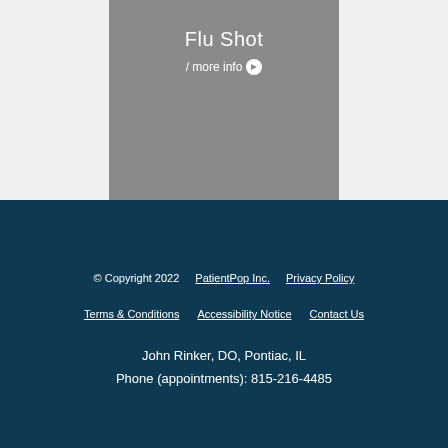[Figure (other): Gray card with text 'Flu Shot' and 'more info' link with arrow icon]
© Copyright 2022 PatientPop Inc.   Privacy Policy   Terms & Conditions   Accessibility Notice   Contact Us   John Rinker, DO, Pontiac, IL   Phone (appointments): 815-216-4485